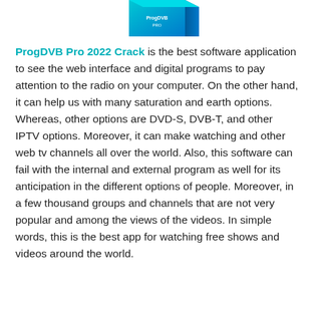[Figure (illustration): Partial view of a software product box (ProgDVB Pro) in teal/blue color, cropped at top of page]
ProgDVB Pro 2022 Crack is the best software application to see the web interface and digital programs to pay attention to the radio on your computer. On the other hand, it can help us with many saturation and earth options. Whereas, other options are DVD-S, DVB-T, and other IPTV options. Moreover, it can make watching and other web tv channels all over the world. Also, this software can fail with the internal and external program as well for its anticipation in the different options of people. Moreover, in a few thousand groups and channels that are not very popular and among the views of the videos. In simple words, this is the best app for watching free shows and videos around the world.